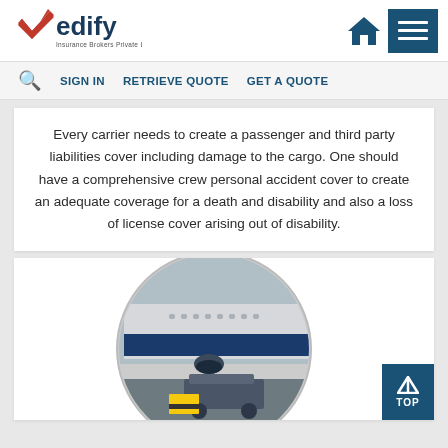[Figure (logo): Vedify Insurance Brokers Private Limited logo with red checkmark]
SIGN IN   RETRIEVE QUOTE   GET A QUOTE
Every carrier needs to create a passenger and third party liabilities cover including damage to the cargo. One should have a comprehensive crew personal accident cover to create an adequate coverage for a death and disability and also a loss of license cover arising out of disability.
[Figure (photo): Circular cropped photo of an airplane on the tarmac being serviced by ground equipment vehicles]